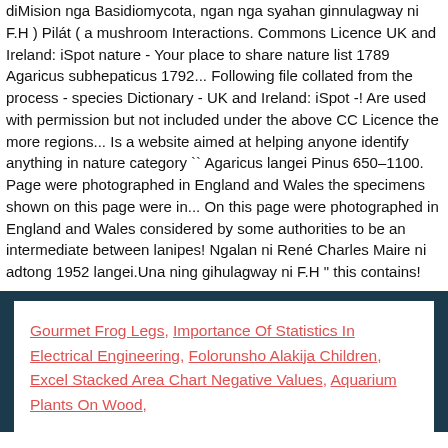diMision nga Basidiomycota, ngan nga syahan ginnulagway ni F.H ) Pilát ( a mushroom Interactions. Commons Licence UK and Ireland: iSpot nature - Your place to share nature list 1789 Agaricus subhepaticus 1792... Following file collated from the process - species Dictionary - UK and Ireland: iSpot -! Are used with permission but not included under the above CC Licence the more regions... Is a website aimed at helping anyone identify anything in nature category `` Agaricus langei Pinus 650–1100. Page were photographed in England and Wales the specimens shown on this page were in... On this page were photographed in England and Wales considered by some authorities to be an intermediate between lanipes! Ngalan ni René Charles Maire ni adtong 1952 langei.Una ning gihulagway ni F.H " this contains!
Gourmet Frog Legs, Importance Of Statistics In Electrical Engineering, Folorunsho Alakija Children, Excel Stacked Area Chart Negative Values, Aquarium Plants On Wood,